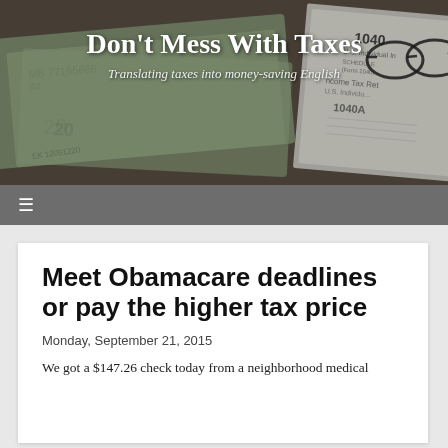[Figure (photo): Header banner showing US dollar bills and IRS tax forms (1040, Schedule) with reading glasses on a dark wooden background]
Don't Mess With Taxes
Translating taxes into money-saving English
☰
Meet Obamacare deadlines or pay the higher tax price
Monday, September 21, 2015
We got a $147.26 check today from a neighborhood medical